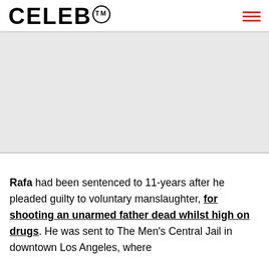CELEB™
[Figure (other): Gray advertisement placeholder area]
Rafa had been sentenced to 11-years after he pleaded guilty to voluntary manslaughter, for shooting an unarmed father dead whilst high on drugs. He was sent to The Men's Central Jail in downtown Los Angeles, where